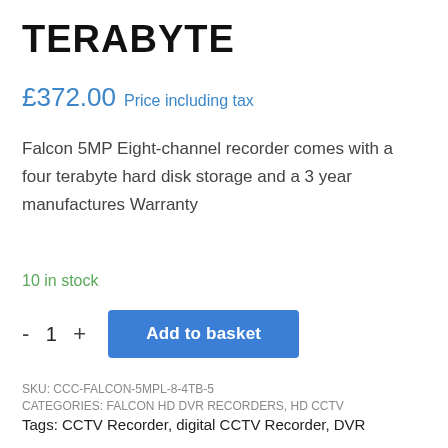TERABYTE
£372.00 Price including tax
Falcon 5MP Eight-channel recorder comes with a four terabyte hard disk storage and a 3 year manufactures Warranty
10 in stock
- 1 + Add to basket
SKU: CCC-FALCON-5MPL-8-4TB-5
CATEGORIES: FALCON HD DVR RECORDERS, HD CCTV
Tags: CCTV Recorder, digital CCTV Recorder, DVR